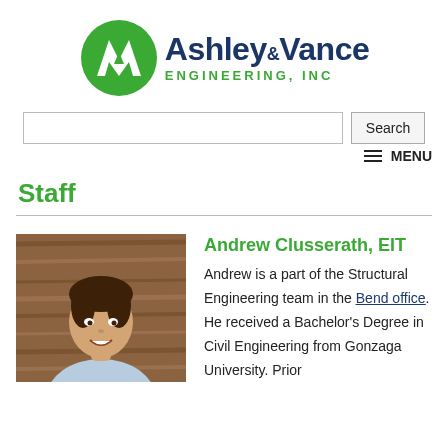[Figure (logo): Ashley & Vance Engineering, Inc. logo with green circular emblem and dark blue text]
[Figure (screenshot): Search input field and Search button for website navigation]
[Figure (screenshot): Hamburger menu icon and MENU text link]
Staff
[Figure (photo): Professional headshot of Andrew Clusserath, a young man smiling, against a wood background]
Andrew Clusserath, EIT
Andrew is a part of the Structural Engineering team in the Bend office. He received a Bachelor's Degree in Civil Engineering from Gonzaga University. Prior